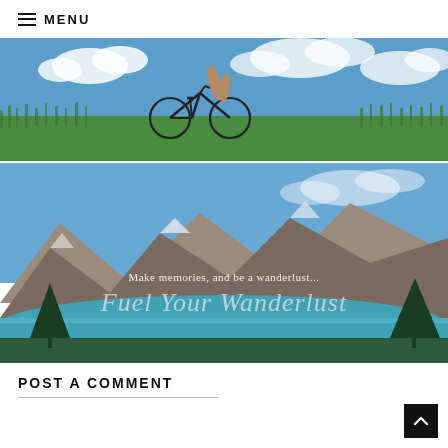MENU
[Figure (photo): Person riding a bicycle through green grass against a blue sky with clouds]
[Figure (photo): Mountain landscape with rocky peaks, turquoise lake, and pine trees. Text overlay reads: Make memories, and be a wanderlust... Fuel Your Wanderlust]
POST A COMMENT